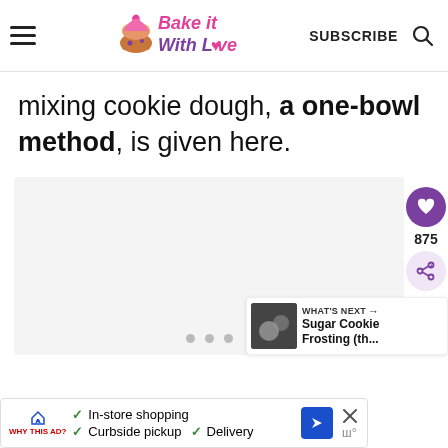Bake it With Love — SUBSCRIBE
mixing cookie dough, a one-bowl method, is given here.
[Figure (photo): Image carousel placeholder area with dot navigation indicators]
875
[Figure (other): What's Next panel: Sugar Cookie Frosting (th...)]
[Figure (other): Advertisement bar: In-store shopping, Curbside pickup, Delivery]